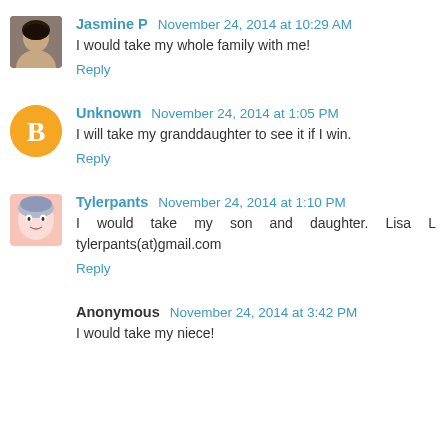Jasmine P  November 24, 2014 at 10:29 AM
I would take my whole family with me!
Reply
Unknown  November 24, 2014 at 1:05 PM
I will take my granddaughter to see it if I win.
Reply
Tylerpants  November 24, 2014 at 1:10 PM
I would take my son and daughter. Lisa L tylerpants(at)gmail.com
Reply
Anonymous  November 24, 2014 at 3:42 PM
I would take my niece!